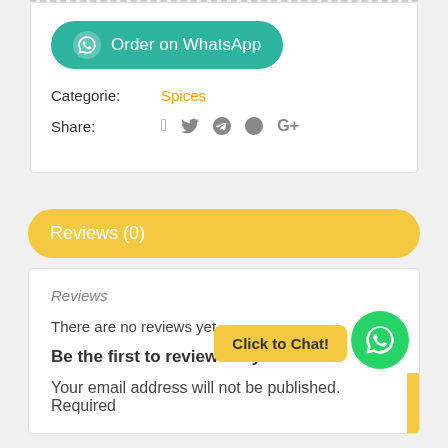[Figure (screenshot): Order on WhatsApp button with WhatsApp logo, teal/green rounded rectangle button]
Categorie: Spices
Share: (social icons: facebook, twitter, pinterest, google+)
Reviews (0)
Reviews
There are no reviews yet.
Be the first to review “Thym Monde”
Your email address will not be published. Required